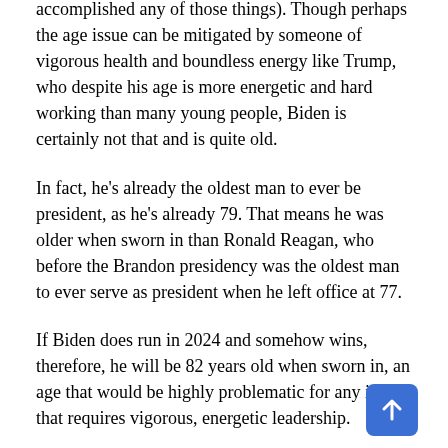accomplished any of those things). Though perhaps the age issue can be mitigated by someone of vigorous health and boundless energy like Trump, who despite his age is more energetic and hard working than many young people, Biden is certainly not that and is quite old.
In fact, he's already the oldest man to ever be president, as he's already 79. That means he was older when sworn in than Ronald Reagan, who before the Brandon presidency was the oldest man to ever serve as president when he left office at 77.
If Biden does run in 2024 and somehow wins, therefore, he will be 82 years old when sworn in, an age that would be highly problematic for any issue that requires vigorous, energetic leadership.
Axelrod frames the age issue as a problem for the Democratic Party. Though that's true, it's also a big issue for America, one